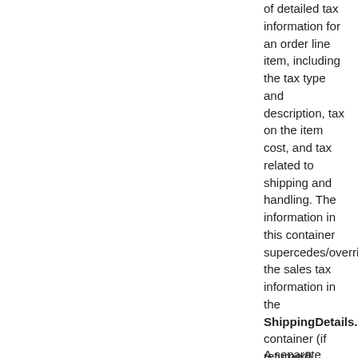of detailed tax information for an order line item, including the tax type and description, tax on the item cost, and tax related to shipping and handling. The information in this container supercedes/overrides the sales tax information in the ShippingDetails.Sa container (if returned).
A separate